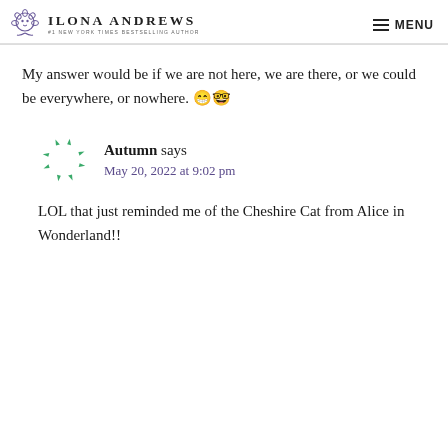Ilona Andrews — #1 New York Times Bestselling Author | MENU
My answer would be if we are not here, we are there, or we could be everywhere, or nowhere. 😁🤓
Autumn says
May 20, 2022 at 9:02 pm
LOL that just reminded me of the Cheshire Cat from Alice in Wonderland!!